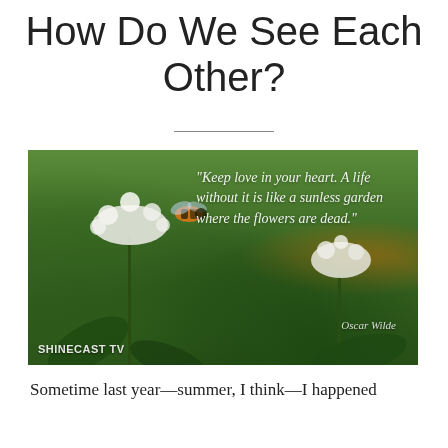How Do We See Each Other?
[Figure (photo): A nature photograph showing white flowers with a bee, set against a green bokeh background. Overlaid with an Oscar Wilde quote: "Keep love in your heart. A life without it is like a sunless garden where the flowers are dead." with SHINECAST TV watermark in the lower left.]
Sometime last year—summer, I think—I happened